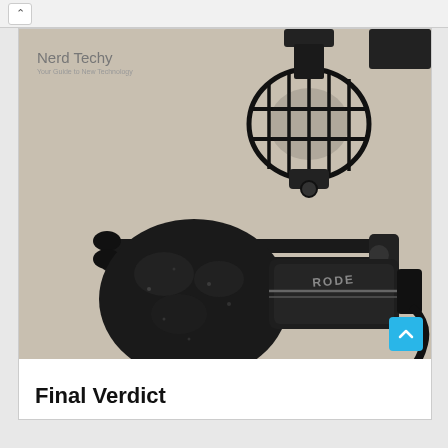[Figure (photo): Photo of a microphone with foam windscreen cover and shock mount stand components laid on a light surface. The microphone has a large black foam cover and the brand name visible on the body. A shock mount cage and articulating arm with rubber-tipped ends are also visible. The Nerd Techy logo watermark appears in the top left corner.]
Final Verdict